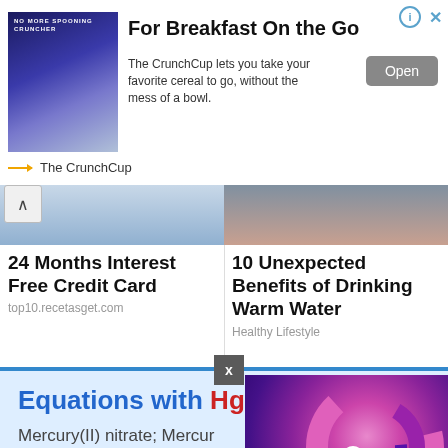[Figure (photo): Advertisement banner: woman drinking from CrunchCup product, with text 'For Breakfast On the Go' and Open button]
For Breakfast On the Go
The CrunchCup lets you take your favorite cereal to go, without the mess of a bowl.
The CrunchCup
[Figure (photo): Thumbnail image for article: 24 Months Interest Free Credit Card]
24 Months Interest Free Credit Card
top10.recetasget.com
[Figure (photo): Thumbnail image for article: 10 Unexpected Benefits of Drinking Warm Water]
10 Unexpected Benefits of Drinking Warm Water
Healthy Lifestyle
Equations with Hg(NO3
Mercury(II) nitrate; Mercury; Dinitric acid mercury(II) salt
[Figure (logo): Ureka Media logo — pink/purple spiral shape with text Ureka | MEDIA and Xem Thêm video controls]